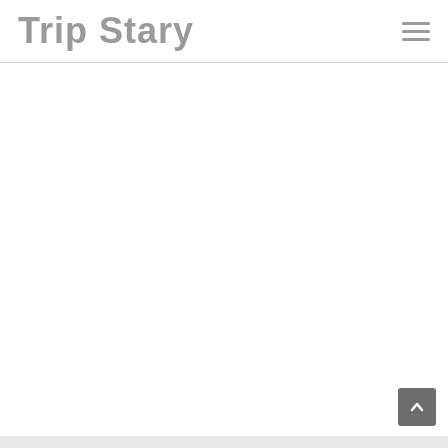Trip Stary
[Figure (screenshot): Website screenshot showing a partial navigation header with logo text 'Trip Stary' in bold gray on the left and a hamburger menu icon on the right, with a horizontal divider line below. The main content area is blank white. A scroll-to-top button appears in the bottom right corner. A gray footer bar is at the very bottom.]